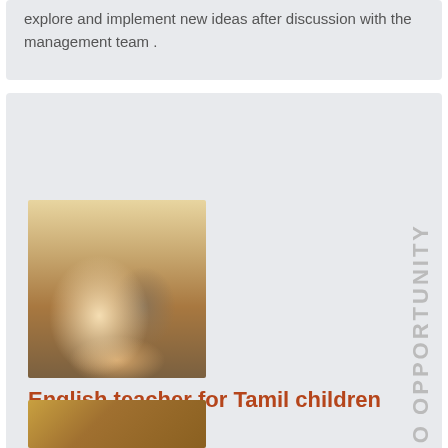explore and implement new ideas after discussion with the management team .
[Figure (photo): Two Tamil children sitting on the floor, one in a striped shirt, reading newspapers or books]
English teacher for Tamil children
at Kuilai Creative Centre
Daily  2 hours per day of teaching English tasks: to Tamil children, 1 hour per day assisting the children with their homework.
[Figure (photo): Partial view of another photo at the bottom of the page]